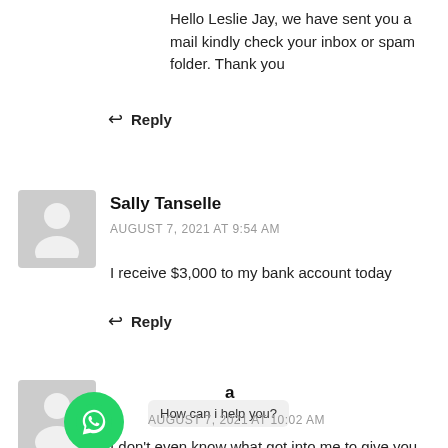Hello Leslie Jay, we have sent you a mail kindly check your inbox or spam folder. Thank you
↩ Reply
Sally Tanselle
AUGUST 7, 2021 AT 9:54 AM
I receive $3,000 to my bank account today
↩ Reply
[Figure (screenshot): WhatsApp chat widget bubble showing 'How can i help you?']
AUGUST 7, 2021 AT 10:02 AM
I don't even know what got into me to give you guys...